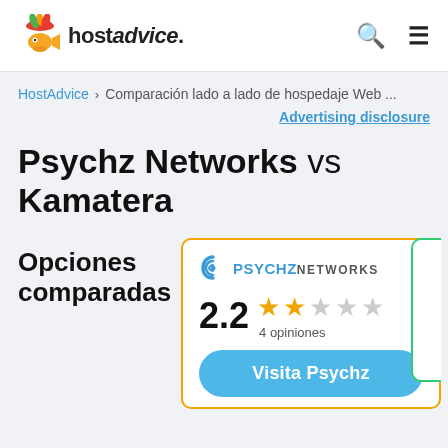hostadvice. [search icon] [menu icon]
HostAdvice › Comparación lado a lado de hospedaje Web ...
Advertising disclosure
Psychz Networks vs Kamatera
Opciones comparadas
[Figure (other): Psychz Networks company card with rating 2.2 stars (2 filled, 1 half-empty shown as empty, 2 empty), 4 opiniones, and a blue Visit Psychz Networks button]